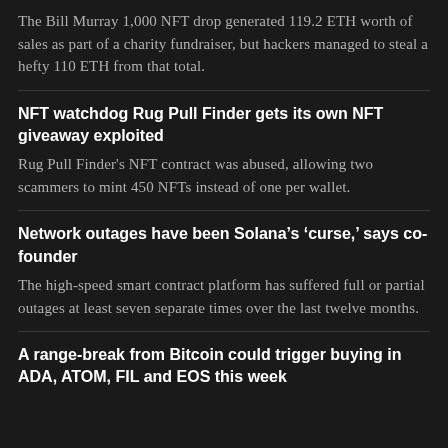The Bill Murray 1,000 NFT drop generated 119.2 ETH worth of sales as part of a charity fundraiser, but hackers managed to steal a hefty 110 ETH from that total.
NFT watchdog Rug Pull Finder gets its own NFT giveaway exploited
Rug Pull Finder's NFT contract was abused, allowing two scammers to mint 450 NFTs instead of one per wallet.
Network outages have been Solana’s ‘curse,’ says co-founder
The high-speed smart contract platform has suffered full or partial outages at least seven separate times over the last twelve months.
A range-break from Bitcoin could trigger buying in ADA, ATOM, FIL and EOS this week